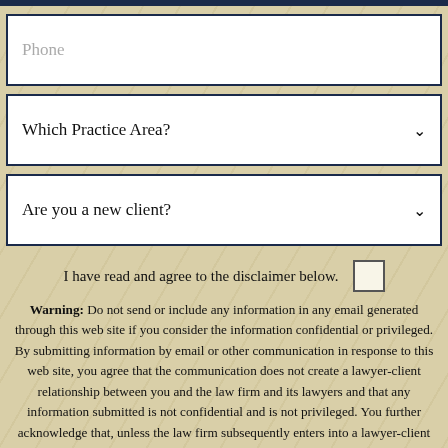Phone
Which Practice Area?
Are you a new client?
I have read and agree to the disclaimer below.
Warning: Do not send or include any information in any email generated through this web site if you consider the information confidential or privileged. By submitting information by email or other communication in response to this web site, you agree that the communication does not create a lawyer-client relationship between you and the law firm and its lawyers and that any information submitted is not confidential and is not privileged. You further acknowledge that, unless the law firm subsequently enters into a lawyer-client relationship with you, any information you